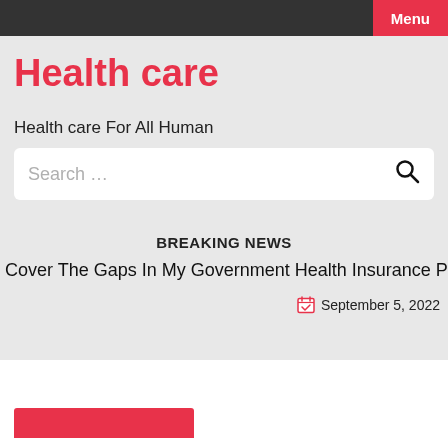Menu
Health care
Health care For All Human
Search …
BREAKING NEWS
Cover The Gaps In My Government Health Insurance Plan
September 5, 2022